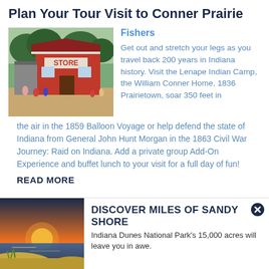Plan Your Tour Visit to Conner Prairie
[Figure (photo): Red store building with people in period costumes outside, trees in background]
Fishers
Get out and stretch your legs as you travel back 200 years in Indiana history. Visit the Lenape Indian Camp, the William Conner Home, 1836 Prairietown, soar 350 feet in the air in the 1859 Balloon Voyage or help defend the state of Indiana from General John Hunt Morgan in the 1863 Civil War Journey: Raid on Indiana. Add a private group Add-On Experience and buffet lunch to your visit for a full day of fun!
READ MORE
[Figure (photo): Indiana Dunes beach at sunset with water and sandy shore]
DISCOVER MILES OF SANDY SHORE
Indiana Dunes National Park's 15,000 acres will leave you in awe.